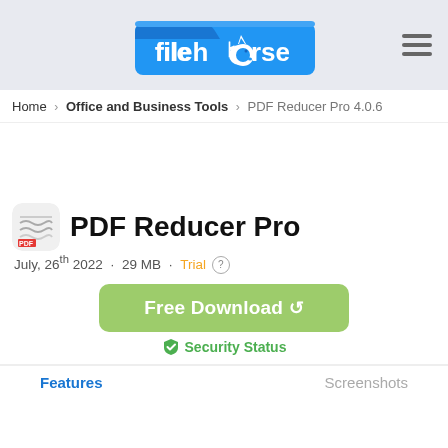[Figure (logo): Filehorse logo: blue folder icon with white 'filehorse' text and a horse silhouette replacing the 'o']
Home > Office and Business Tools > PDF Reducer Pro 4.0.6
PDF Reducer Pro
July, 26th 2022  ·  29 MB  ·  Trial
[Figure (other): Green rounded rectangle button reading 'Free Download' with a loading/arrow icon]
Security Status
Features    Screenshots